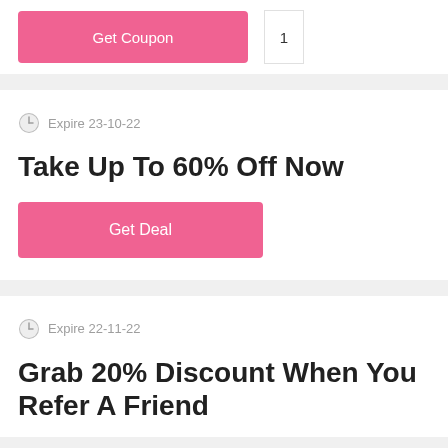[Figure (screenshot): Pink Get Coupon button with number 1 box to the right, partially visible at top of page]
Expire 23-10-22
Take Up To 60% Off Now
[Figure (screenshot): Pink Get Deal button]
Expire 22-11-22
Grab 20% Discount When You Refer A Friend